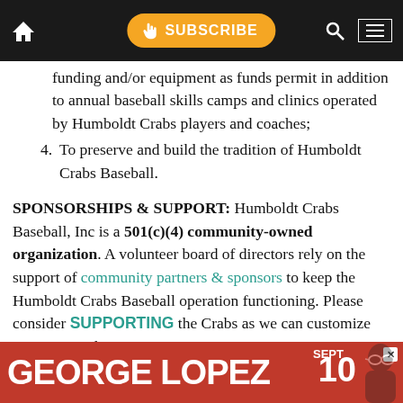SUBSCRIBE (navigation bar)
funding and/or equipment as funds permit in addition to annual baseball skills camps and clinics operated by Humboldt Crabs players and coaches;
4. To preserve and build the tradition of Humboldt Crabs Baseball.
SPONSORSHIPS & SUPPORT: Humboldt Crabs Baseball, Inc is a 501(c)(4) community-owned organization. A volunteer board of directors rely on the support of community partners & sponsors to keep the Humboldt Crabs Baseball operation functioning. Please consider SUPPORTING the Crabs as we can customize any sponsorship to a company's
[Figure (infographic): Advertisement banner for George Lopez, September 10]